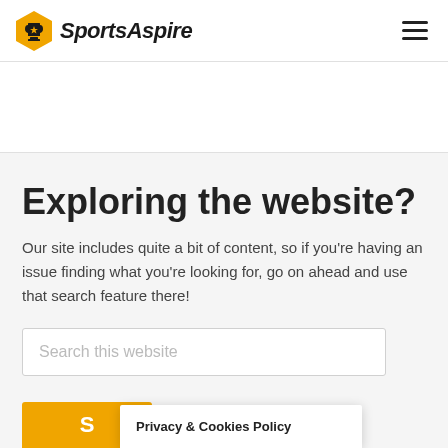SportsAspire
Exploring the website?
Our site includes quite a bit of content, so if you're having an issue finding what you're looking for, go on ahead and use that search feature there!
Search this website
Privacy & Cookies Policy